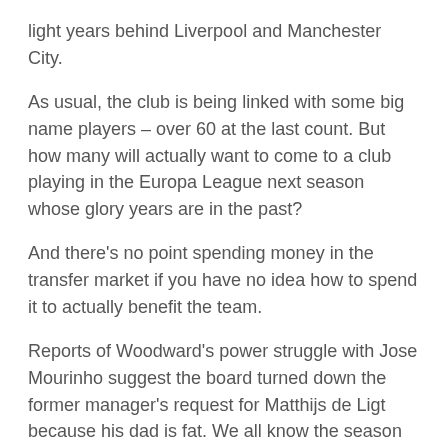light years behind Liverpool and Manchester City.
As usual, the club is being linked with some big name players – over 60 at the last count. But how many will actually want to come to a club playing in the Europa League next season whose glory years are in the past?
And there's no point spending money in the transfer market if you have no idea how to spend it to actually benefit the team.
Reports of Woodward's power struggle with Jose Mourinho suggest the board turned down the former manager's request for Matthijs de Ligt because his dad is fat. We all know the season the Dutchman has just had. There's no way he'd sign for United now.
Most fans will support the club no matter what. All they are interested in are new signings and the new shirt.
Some are beginning to realise that with failed managers, disastrous signings, and a chronic lack of